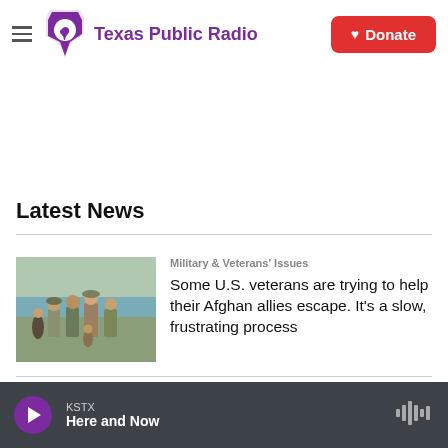Texas Public Radio — Donate
Latest News
[Figure (photo): Group of U.S. soldiers and Afghan civilians posing together outdoors near a body of water.]
Military & Veterans' Issues
Some U.S. veterans are trying to help their Afghan allies escape. It's a slow, frustrating process
KSTX — Here and Now